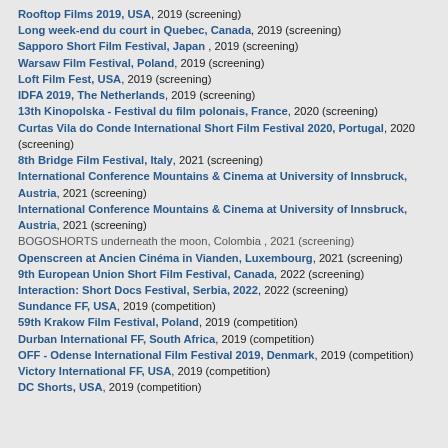Rooftop Films 2019, USA, 2019 (screening)
Long week-end du court in Quebec, Canada, 2019 (screening)
Sapporo Short Film Festival, Japan , 2019 (screening)
Warsaw Film Festival, Poland, 2019 (screening)
Loft Film Fest, USA, 2019 (screening)
IDFA 2019, The Netherlands, 2019 (screening)
13th Kinopolska - Festival du film polonais, France, 2020 (screening)
Curtas Vila do Conde International Short Film Festival 2020, Portugal, 2020 (screening)
8th Bridge Film Festival, Italy, 2021 (screening)
International Conference Mountains & Cinema at University of Innsbruck, Austria, 2021 (screening)
International Conference Mountains & Cinema at University of Innsbruck, Austria, 2021 (screening)
BOGOSHORTS underneath the moon, Colombia , 2021 (screening)
Openscreen at Ancien Cinéma in Vianden, Luxembourg, 2021 (screening)
9th European Union Short Film Festival, Canada, 2022 (screening)
Interaction: Short Docs Festival, Serbia, 2022, 2022 (screening)
Sundance FF, USA, 2019 (competition)
59th Krakow Film Festival, Poland, 2019 (competition)
Durban International FF, South Africa, 2019 (competition)
OFF - Odense International Film Festival 2019, Denmark, 2019 (competition)
Victory International FF, USA, 2019 (competition)
DC Shorts, USA, 2019 (competition)